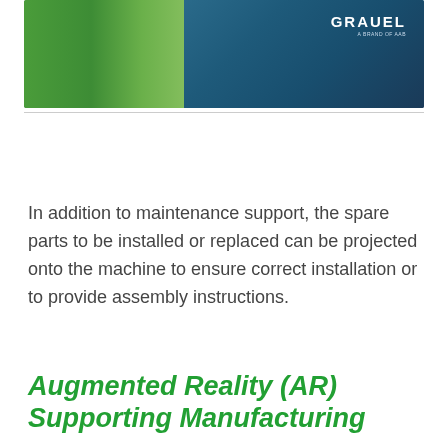[Figure (photo): Header photo showing a person in a green shirt working with industrial machinery/equipment, with the Grauel logo overlay in the top right corner]
In addition to maintenance support, the spare parts to be installed or replaced can be projected onto the machine to ensure correct installation or to provide assembly instructions.
Augmented Reality (AR) Supporting Manufacturing